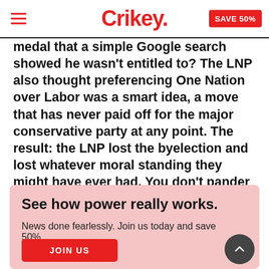Crikey. | SAVE 50%
medal that a simple Google search showed he wasn't entitled to? The LNP also thought preferencing One Nation over Labor was a smart idea, a move that has never paid off for the major conservative party at any point. The result: the LNP lost the byelection and lost whatever moral standing they might have ever had. You don't pander to racists without getting dirty — and it's the sort of dirt that takes a long time to wash off.
See how power really works.
News done fearlessly. Join us today and save 50%.
JOIN US